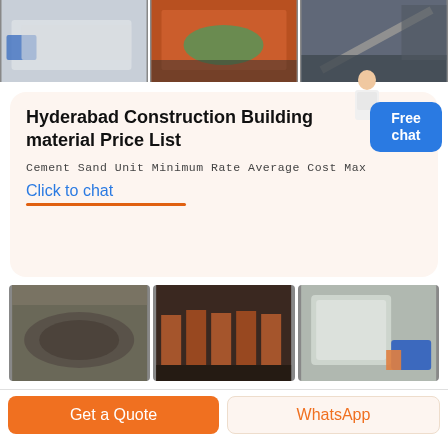[Figure (photo): Three industrial machinery photos at top: white machine/conveyor, orange industrial equipment, outdoor conveyor belt]
Hyderabad Construction Building material Price List
Cement Sand Unit Minimum Rate Average Cost Max
Click to chat
[Figure (photo): Three industrial machinery photos at bottom: cylindrical ball mill, row of crushers in factory, white industrial fan/blower with blue motor]
Get a Quote
WhatsApp